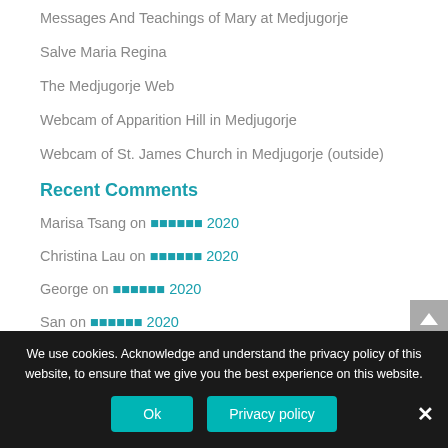Messages And Teachings of Mary at Medjugorje
Salve Maria Regina
The Medjugorje Web
Webcam of Apparition Hill in Medjugorje
Webcam of St. James Church in Medjugorje (outside)
Recent Comments
Marisa Tsang on ■■■■■■ 2020
Christina Lau on ■■■■■■ 2020
George on ■■■■■■ 2020
San on ■■■■■■ 2020
We use cookies. Acknowledge and understand the privacy policy of this website, to ensure that we give you the best experience on this website.